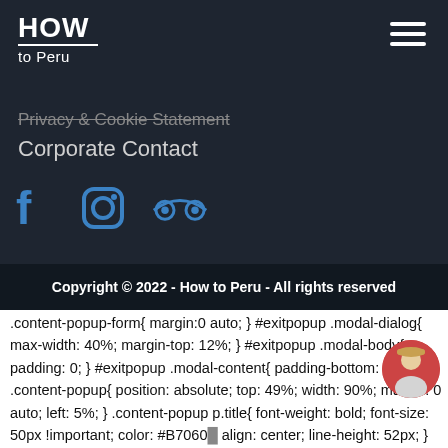HOW to Peru
Privacy & Cookie Statement
Corporate Contact
[Figure (illustration): Social media icons: Facebook, Instagram, TripAdvisor in blue]
Copyright © 2022 - How to Peru - All rights reserved
.content-popup-form{ margin:0 auto; } #exitpopup .modal-dialog{ max-width: 40%; margin-top: 12%; } #exitpopup .modal-body{ padding: 0; } #exitpopup .modal-content{ padding-bottom: 0; } .content-popup{ position: absolute; top: 49%; width: 90%; margin: 0 auto; left: 5%; } .content-popup p.title{ font-weight: bold; font-size: 50px !important; color: #B7060 align: center; line-height: 52px; } .content-popup p.conte weight: 300; font-size: 26px !important; color: #333333; text-align: center; line-height: 28px; } .modal-content{ background-